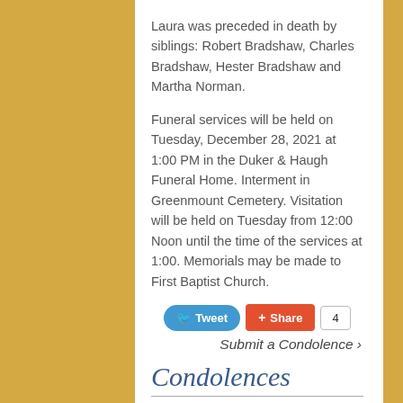Laura was preceded in death by siblings: Robert Bradshaw, Charles Bradshaw, Hester Bradshaw and Martha Norman.
Funeral services will be held on Tuesday, December 28, 2021 at 1:00 PM in the Duker & Haugh Funeral Home. Interment in Greenmount Cemetery. Visitation will be held on Tuesday from 12:00 Noon until the time of the services at 1:00. Memorials may be made to First Baptist Church.
Condolences
| Label | Value |
| --- | --- |
| From: | Christine Schaller
Anderson, IN |
| Comments: | Sorry to read of Laura's |